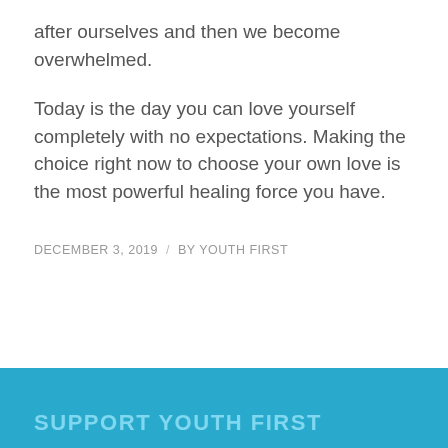after ourselves and then we become overwhelmed.
Today is the day you can love yourself completely with no expectations. Making the choice right now to choose your own love is the most powerful healing force you have.
DECEMBER 3, 2019  /  BY YOUTH FIRST
SUPPORT YOUTH FIRST